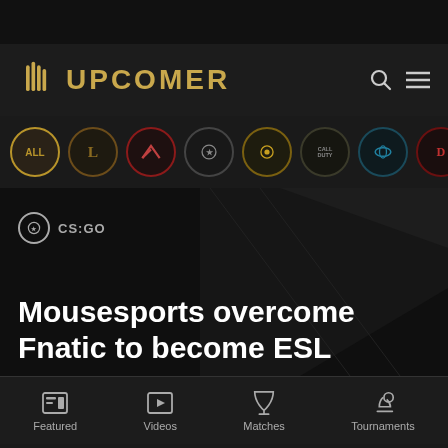[Figure (logo): Upcomer esports website logo with golden torch icon and UPCOMER text in gold]
[Figure (infographic): Horizontal scrollable row of circular game icons including ALL, League of Legends, Valorant, CS:GO, Overwatch, Call of Duty, Halo, Dota 2, Apex Legends, Rocket League]
CS:GO
Mousesports overcome Fnatic to become ESL
[Figure (infographic): Bottom navigation bar with Featured, Videos, Matches, Tournaments icons]